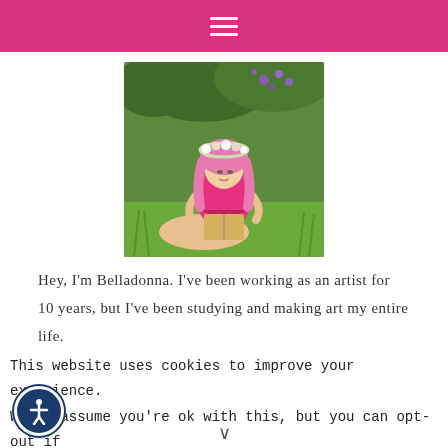≡
[Figure (photo): Woman with pink hair and flower crown sitting cross-legged on grass reading a book, surrounded by green foliage and purple flowers]
Hey, I'm Belladonna. I've been working as an artist for 10 years, but I've been studying and making art my entire life.
This website uses cookies to improve your experience. We'll assume you're ok with this, but you can opt-out if